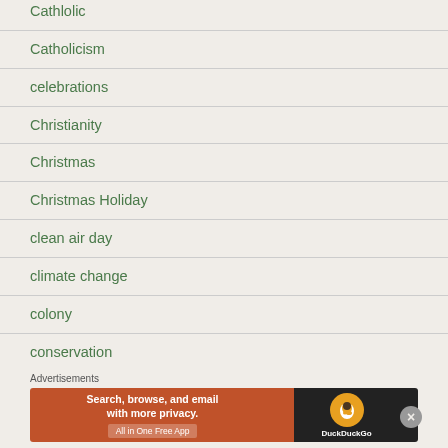Cathlolic
Catholicism
celebrations
Christianity
Christmas
Christmas Holiday
clean air day
climate change
colony
conservation
coureur de bois
Advertisements
[Figure (other): DuckDuckGo advertisement banner: Search, browse, and email with more privacy. All in One Free App]